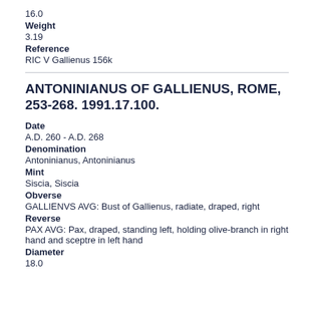16.0
Weight
3.19
Reference
RIC V Gallienus 156k
ANTONINIANUS OF GALLIENUS, ROME, 253-268. 1991.17.100.
Date
A.D. 260 - A.D. 268
Denomination
Antoninianus, Antoninianus
Mint
Siscia, Siscia
Obverse
GALLIENVS AVG: Bust of Gallienus, radiate, draped, right
Reverse
PAX AVG: Pax, draped, standing left, holding olive-branch in right hand and sceptre in left hand
Diameter
18.0